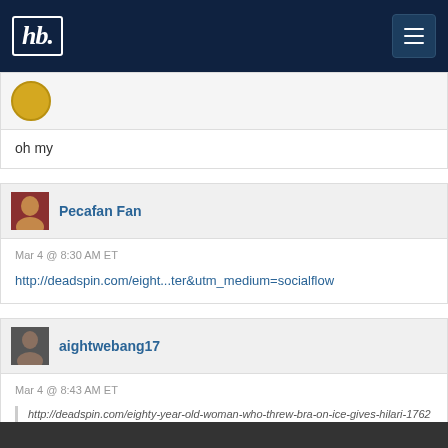hb
oh my
Pecafan Fan
Mar 4 @ 8:30 AM ET
http://deadspin.com/eight...ter&utm_medium=socialflow
aightwebang17
Mar 4 @ 8:43 AM ET
http://deadspin.com/eighty-year-old-woman-who-threw-bra-on-ice-gives-hilari-1762771574?utm_campaign=socialflow_deadspin_twitter&utm_source=deadspin_twitter&utm_medium=socialflo